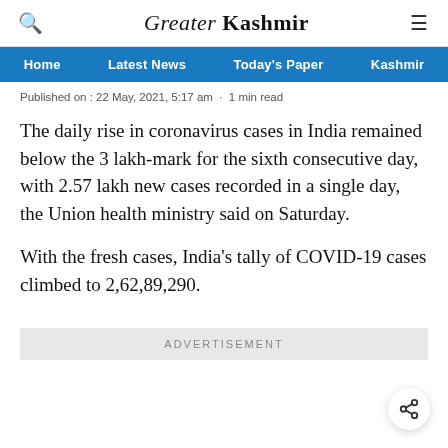Greater Kashmir
Home   Latest News   Today's Paper   Kashmir
Published on : 22 May, 2021, 5:17 am  ·  1 min read
The daily rise in coronavirus cases in India remained below the 3 lakh-mark for the sixth consecutive day, with 2.57 lakh new cases recorded in a single day, the Union health ministry said on Saturday.
With the fresh cases, India's tally of COVID-19 cases climbed to 2,62,89,290.
ADVERTISEMENT